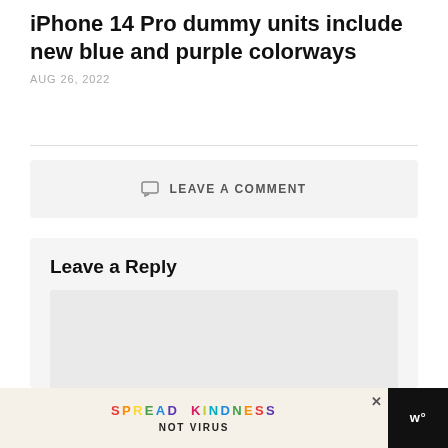iPhone 14 Pro dummy units include new blue and purple colorways
AUG 26, 2022
LEAVE A COMMENT
Leave a Reply
[Figure (infographic): Advertisement banner: SPREAD KINDNESS NOT VIRUS with colorful letters on light background, close button, and logo on dark right side]